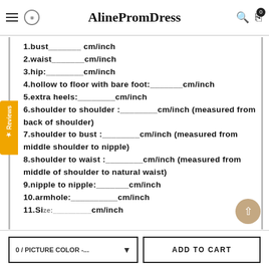AlinePromDress
1.bust_______ cm/inch
2.waist_______cm/inch
3.hip:________cm/inch
4.hollow to floor with bare foot:_______cm/inch
5.extra heels:________cm/inch
6.shoulder to shoulder :________cm/inch (measured from back of shoulder)
7.shoulder to bust :________cm/inch (measured from middle shoulder to nipple)
8.shoulder to waist :________cm/inch (measured from middle of shoulder to natural waist)
9.nipple to nipple:_______cm/inch
10.armhole:__________cm/inch
11.Size:__________cm/inch